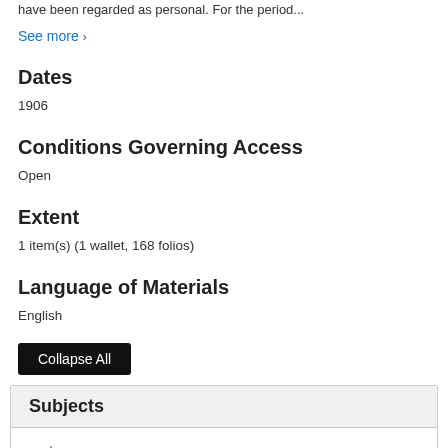have been regarded as personal. For the period...
See more ›
Dates
1906
Conditions Governing Access
Open
Extent
1 item(s) (1 wallet, 168 folios)
Language of Materials
English
Collapse All
Subjects
Income